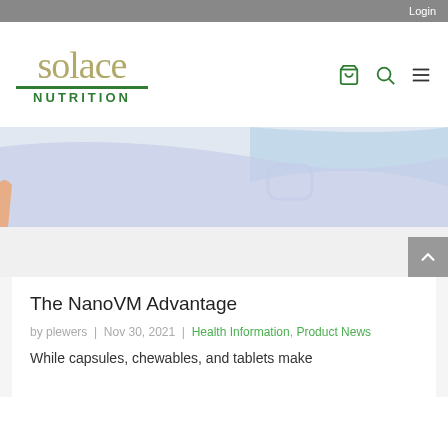Login
[Figure (logo): Solace Nutrition logo with stylized text 'solace' in olive/gold serif font, green horizontal line, and 'NUTRITION' in green uppercase bold letters below]
[Figure (infographic): Navigation icons: shopping cart, search/magnifier, and hamburger menu in dark teal/green]
[Figure (illustration): Hero banner image with light blue and lavender pastel abstract swooping shapes, partially visible figure illustration]
The NanoVM Advantage
by plewers | Nov 30, 2021 | Health Information, Product News
While capsules, chewables, and tablets make